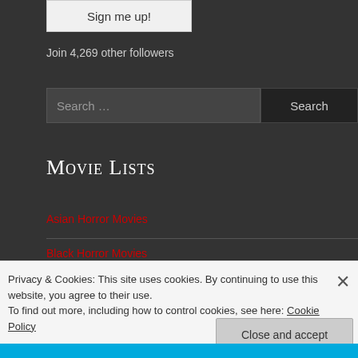[Figure (screenshot): Sign me up button, partially visible at top of page]
Join 4,269 other followers
[Figure (screenshot): Search input field with placeholder 'Search ...' and a Search button]
Movie Lists
Asian Horror Movies
Black Horror Movies
Privacy & Cookies: This site uses cookies. By continuing to use this website, you agree to their use.
To find out more, including how to control cookies, see here: Cookie Policy
[Figure (screenshot): Close and accept button for cookie notice]